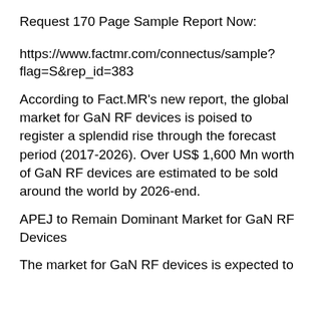Request 170 Page Sample Report Now:
https://www.factmr.com/connectus/sample?flag=S&rep_id=383
According to Fact.MR's new report, the global market for GaN RF devices is poised to register a splendid rise through the forecast period (2017-2026). Over US$ 1,600 Mn worth of GaN RF devices are estimated to be sold around the world by 2026-end.
APEJ to Remain Dominant Market for GaN RF Devices
The market for GaN RF devices is expected to